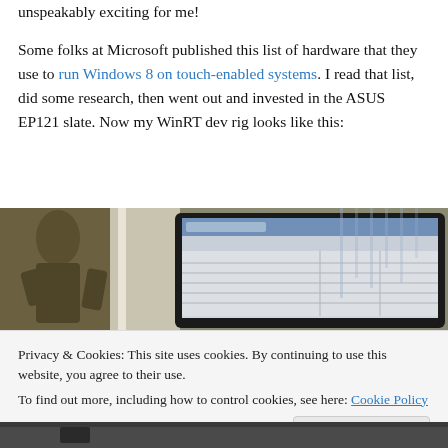unspeakably exciting for me! Some folks at Microsoft published this list of hardware that they use to run Windows 8 on touch-enabled systems. I read that list, did some research, then went out and invested in the ASUS EP121 slate. Now my WinRT dev rig looks like this:
[Figure (photo): Photo of a desk setup showing a computer monitor displaying what appears to be a Windows interface, with a decorative bronze/metal statue on the left side.]
Privacy & Cookies: This site uses cookies. By continuing to use this website, you agree to their use. To find out more, including how to control cookies, see here: Cookie Policy
Close and accept
[Figure (photo): Bottom portion of another photo, partially visible, showing a dark desk surface.]